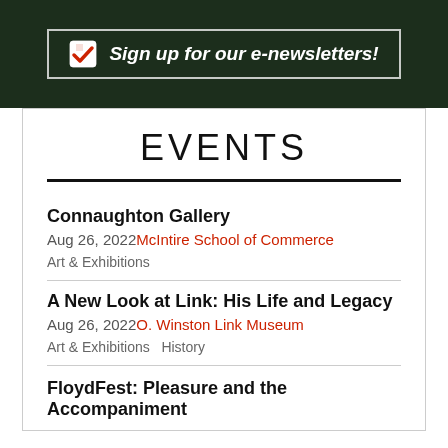[Figure (infographic): Dark green banner with checkbox icon and text 'Sign up for our e-newsletters!' in white italic bold font, with a white border rectangle around the content]
EVENTS
Connaughton Gallery
Aug 26, 2022 McIntire School of Commerce
Art & Exhibitions
A New Look at Link: His Life and Legacy
Aug 26, 2022 O. Winston Link Museum
Art & Exhibitions  History
FloydFest: Pleasure and the Accompaniment